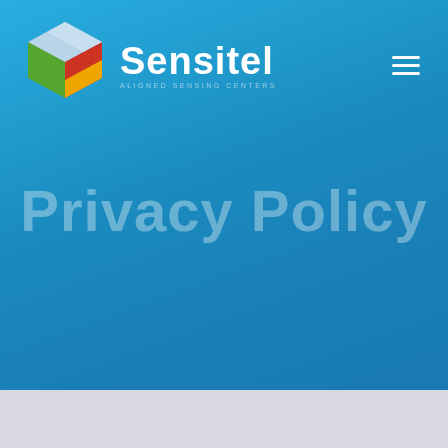[Figure (logo): Sensitel company logo with colorful 3D cube icon and white company name text]
Privacy Policy
[Figure (other): Light gray footer bar at bottom of page]